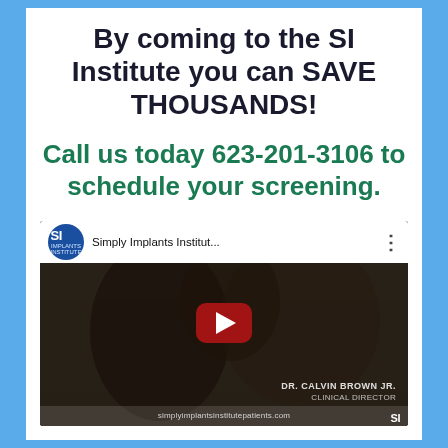By coming to the SI Institute you can SAVE THOUSANDS!
Call us today 623-201-3106 to schedule your screening.
[Figure (screenshot): YouTube video thumbnail for Simply Implants Institut... with SI logo, channel name, play button overlay, Dr. Calvin Brown Jr. Clinical Director text, and simplyimplantsinstitutepatients.com URL at bottom]